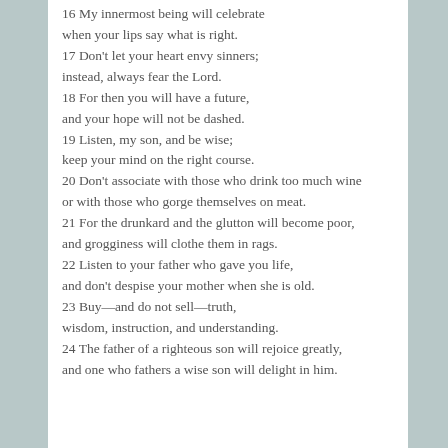16 My innermost being will celebrate when your lips say what is right. 17 Don't let your heart envy sinners; instead, always fear the Lord. 18 For then you will have a future, and your hope will not be dashed. 19 Listen, my son, and be wise; keep your mind on the right course. 20 Don't associate with those who drink too much wine or with those who gorge themselves on meat. 21 For the drunkard and the glutton will become poor, and grogginess will clothe them in rags. 22 Listen to your father who gave you life, and don't despise your mother when she is old. 23 Buy—and do not sell—truth, wisdom, instruction, and understanding. 24 The father of a righteous son will rejoice greatly, and one who fathers a wise son will delight in him.